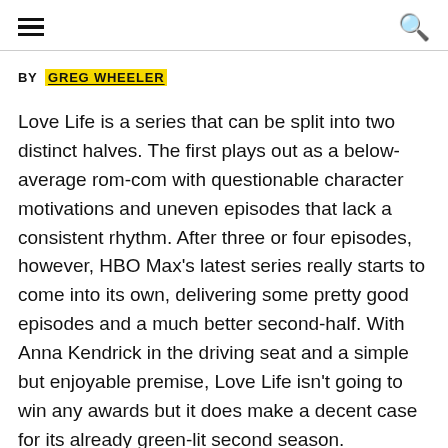BY  GREG WHEELER
Love Life is a series that can be split into two distinct halves. The first plays out as a below-average rom-com with questionable character motivations and uneven episodes that lack a consistent rhythm. After three or four episodes, however, HBO Max’s latest series really starts to come into its own, delivering some pretty good episodes and a much better second-half. With Anna Kendrick in the driving seat and a simple but enjoyable premise, Love Life isn’t going to win any awards but it does make a decent case for its already green-lit second season.
The story itself follows Darby, a hopeless romantic...